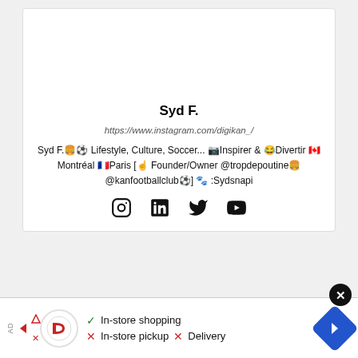[Figure (photo): Profile photo of Syd F., a smiling man giving a thumbs up, wearing a dark blue jacket, with greenery in background]
Syd F.
https://www.instagram.com/digikan_/
Syd F.🍔⚽ Lifestyle, Culture, Soccer... 📷Inspirer & 😂Divertir 🇨🇦 Montréal 🇫🇷Paris [☝ Founder/Owner @tropdepoutine🍔 @kanfootballclub⚽] 🐾 :Sydsnapi
[Figure (infographic): Social media icons: Instagram, LinkedIn, Twitter/X, YouTube]
[Figure (infographic): Advertisement bar showing: In-store shopping (checkmark), In-store pickup (X), Delivery (X), with a logo and navigation arrow]